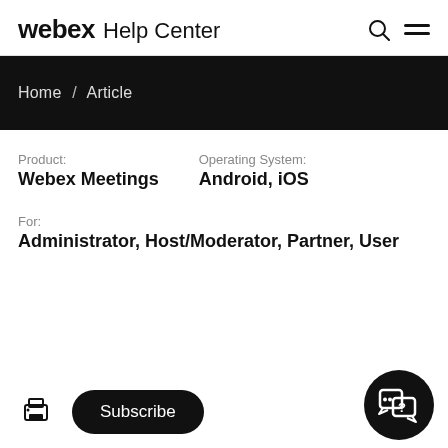webex Help Center
Home / Article
Product: Webex Meetings   Operating System: Android, iOS
For: Administrator, Host/Moderator, Partner, User
Subscribe